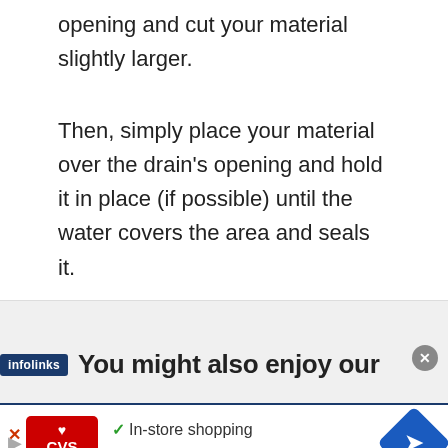You'll want to measure the length of the drain opening and cut your material slightly larger.
Then, simply place your material over the drain's opening and hold it in place (if possible) until the water covers the area and seals it.
[Figure (screenshot): Infolinks advertisement overlay reading 'You might also enjoy our' with a CVS Pharmacy ad below showing checkmarks for In-store shopping, Drive-through, and Delivery options, with a blue diamond arrow navigation button.]